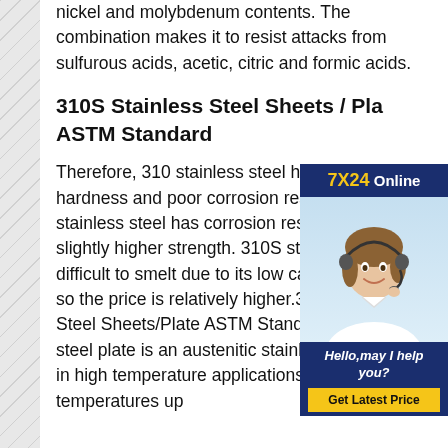nickel and molybdenum contents. The combination makes it to resist attacks from sulfurous acids, acetic, citric and formic acids.
310S Stainless Steel Sheets / Plates ASTM Standard
[Figure (photo): Online chat support advertisement with '7X24 Online' header, photo of a woman wearing a headset, text 'Hello, may I help you?' and a yellow 'Get Latest Price' button on dark navy background.]
Therefore, 310 stainless steel has strength and hardness and poor corrosion resistance. 310S stainless steel has corrosion resistance and slightly higher strength. 310S stainless steel is difficult to smelt due to its low carbon content, so the price is relatively higher.310 Stainless Steel Sheets/Plate ASTM Standard310 stainless steel plate is an austenitic stainless steel used in high temperature applications. It is used in temperatures up